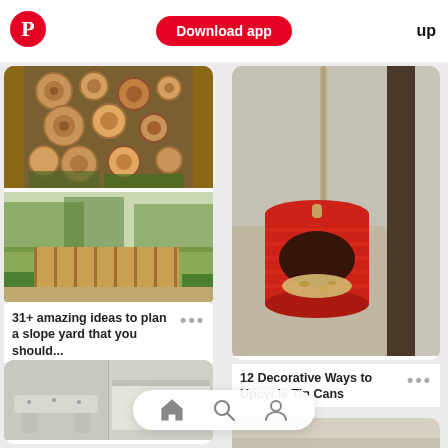Download app  up
[Figure (photo): Two stacked garden photos: top shows a decorative wood slice fence wall with logs cut in cross-section; bottom shows a bamboo/natural wooden slatted fence enclosure with wild grass growing]
31+ amazing ideas to plan a slope yard that you should... •••
[Figure (photo): A red tin can repurposed as a bird feeder, hanging from a rope near a window, partially filled with seeds]
12 Decorative Ways to Upcycle Tin Cans •••
[Figure (photo): Concrete/stone garden bench or planter, light grey color]
[Figure (photo): Outdoor fabric or tarp partially visible on bottom right]